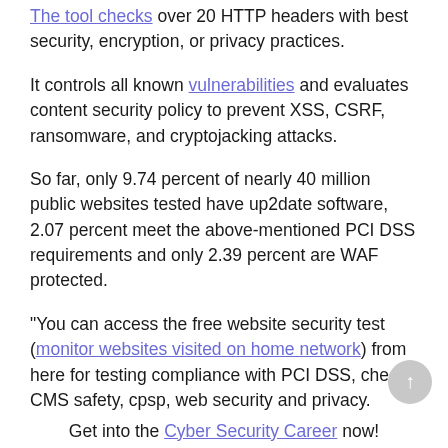The tool checks over 20 HTTP headers with best security, encryption, or privacy practices.
It controls all known vulnerabilities and evaluates content security policy to prevent XSS, CSRF, ransomware, and cryptojacking attacks.
So far, only 9.74 percent of nearly 40 million public websites tested have up2date software, 2.07 percent meet the above-mentioned PCI DSS requirements and only 2.39 percent are WAF protected.
"You can access the free website security test (monitor websites visited on home network) from here for testing compliance with PCI DSS, check CMS safety, cpsp, web security and privacy.
Get into the Cyber Security Career now!